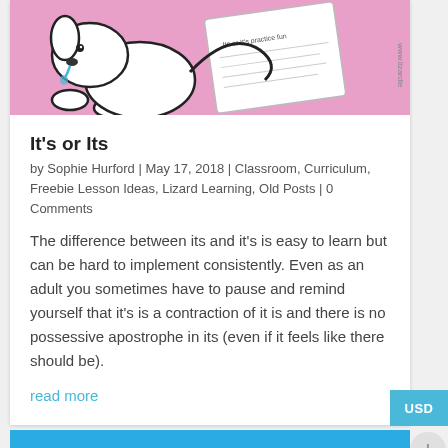[Figure (illustration): Cartoon illustration of a dog on a pink background, with a worksheet/paper showing grammar content about Its vs It's]
It's or Its
by Sophie Hurford | May 17, 2018 | Classroom, Curriculum, Freebie Lesson Ideas, Lizard Learning, Old Posts | 0 Comments
The difference between its and it's is easy to learn but can be hard to implement consistently. Even as an adult you sometimes have to pause and remind yourself that it's is a contraction of it is and there is no possessive apostrophe in its (even if it feels like there should be).
read more